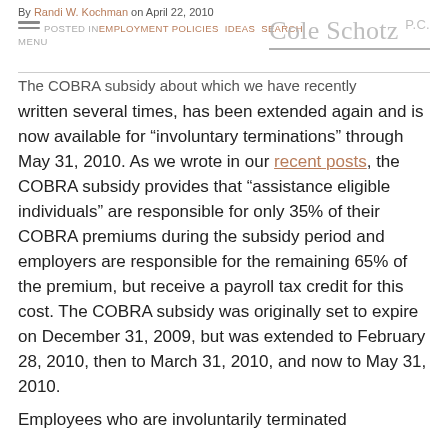By Randi W. Kochman on April 22, 2010
POSTED IN EMPLOYMENT POLICIES IDEAS SEARCH
MENU
Cole Schotz P.C.
The COBRA subsidy about which we have recently written several times, has been extended again and is now available for “involuntary terminations” through May 31, 2010. As we wrote in our recent posts, the COBRA subsidy provides that “assistance eligible individuals” are responsible for only 35% of their COBRA premiums during the subsidy period and employers are responsible for the remaining 65% of the premium, but receive a payroll tax credit for this cost. The COBRA subsidy was originally set to expire on December 31, 2009, but was extended to February 28, 2010, then to March 31, 2010, and now to May 31, 2010.
Employees who are involuntarily terminated